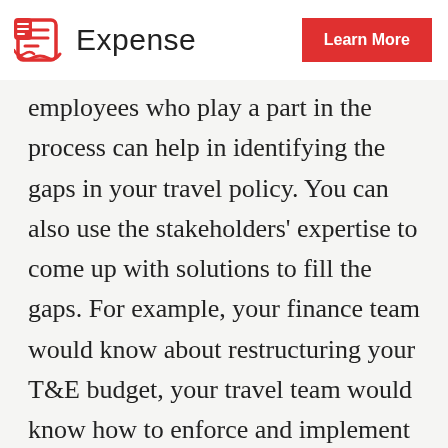Expense | Learn More
employees who play a part in the process can help in identifying the gaps in your travel policy. You can also use the stakeholders' expertise to come up with solutions to fill the gaps. For example, your finance team would know about restructuring your T&E budget, your travel team would know how to enforce and implement the policy, and your HR team would know how to communicate it to employees